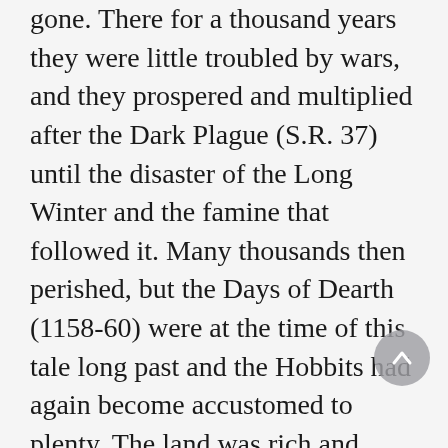gone. There for a thousand years they were little troubled by wars, and they prospered and multiplied after the Dark Plague (S.R. 37) until the disaster of the Long Winter and the famine that followed it. Many thousands then perished, but the Days of Dearth (1158-60) were at the time of this tale long past and the Hobbits had again become accustomed to plenty. The land was rich and kindly, and though it had long been deserted when they entered it, it had before been well tilled, and there the king had once had many farms, cornlands, vineyards, and woods.
Forty leagues it stretched from the Far Downs to the Brandywine Bridge, and fifty from the northern moors to the marshes in the south. The Hobbits named it the Shire.